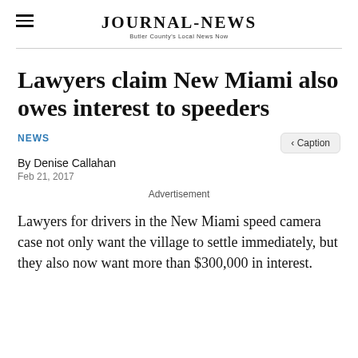JOURNAL-NEWS Butler County's Local News Now
Lawyers claim New Miami also owes interest to speeders
NEWS
By Denise Callahan
Feb 21, 2017
Advertisement
Lawyers for drivers in the New Miami speed camera case not only want the village to settle immediately, but they also now want more than $300,000 in interest.